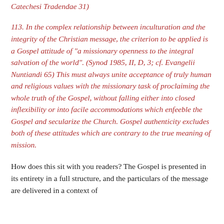Catechesi Tradendae 31)
113. In the complex relationship between inculturation and the integrity of the Christian message, the criterion to be applied is a Gospel attitude of "a missionary openness to the integral salvation of the world". (Synod 1985, II, D, 3; cf. Evangelii Nuntiandi 65) This must always unite acceptance of truly human and religious values with the missionary task of proclaiming the whole truth of the Gospel, without falling either into closed inflexibility or into facile accommodations which enfeeble the Gospel and secularize the Church. Gospel authenticity excludes both of these attitudes which are contrary to the true meaning of mission.
How does this sit with you readers? The Gospel is presented in its entirety in a full structure, and the particulars of the message are delivered in a context of